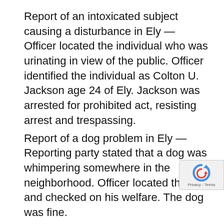Report of an intoxicated subject causing a disturbance in Ely — Officer located the individual who was urinating in view of the public. Officer identified the individual as Colton U. Jackson age 24 of Ely. Jackson was arrested for prohibited act, resisting arrest and trespassing.
Report of a dog problem in Ely — Reporting party stated that a dog was whimpering somewhere in the neighborhood. Officer located the dog and checked on his welfare. The dog was fine.
Report of an accident — Lance Marshal of McGill had left a disabled vehicle parked in the roadway. Walter Bohrn of McGill was operating a vehicle and struck Marshal's vehicle. A accident report was completed.
Report of a business license violation in Ely — O received a report of an individual selling meat it out of his vehicle. The person reportedly did not the...